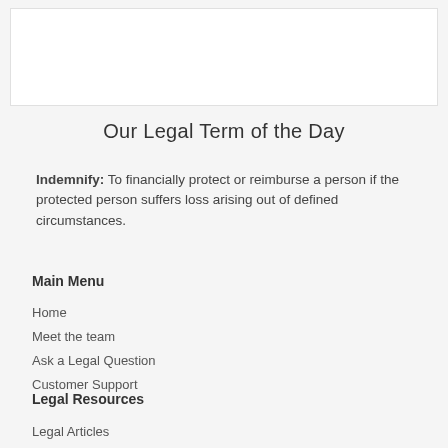Our Legal Term of the Day
Indemnify: To financially protect or reimburse a person if the protected person suffers loss arising out of defined circumstances.
Main Menu
Home
Meet the team
Ask a Legal Question
Customer Support
Legal Resources
Legal Articles